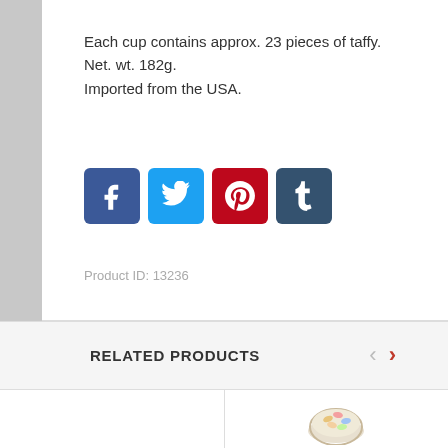Each cup contains approx. 23 pieces of taffy.
Net. wt. 182g.
Imported from the USA.
[Figure (infographic): Four social media share buttons: Facebook (blue), Twitter (light blue), Pinterest (red), Tumblr (dark blue-grey)]
Product ID: 13236
RELATED PRODUCTS
[Figure (photo): Two product thumbnails in related products section - left cell empty white, right cell showing a bowl of candy]
[Figure (photo): Right related product thumbnail showing a bowl with taffy candy pieces]